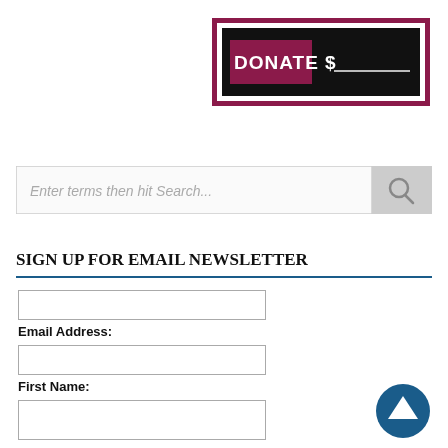[Figure (infographic): Donate button banner: dark background with white border and purple/maroon accent, text reads DONATE $___]
[Figure (screenshot): Search bar with placeholder text 'Enter terms then hit Search...' and a grey search button with magnifying glass icon]
SIGN UP FOR EMAIL NEWSLETTER
Email Address:
First Name: